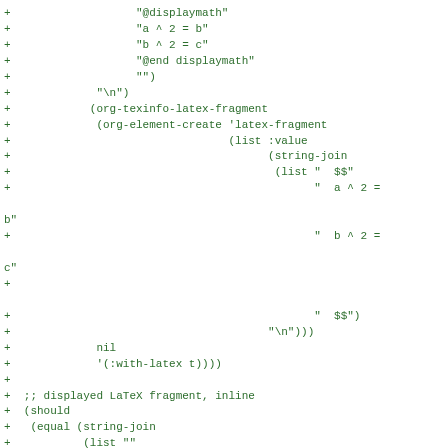Code diff showing org-texinfo-latex-fragment and should/equal test blocks with displaymath and string-join constructs